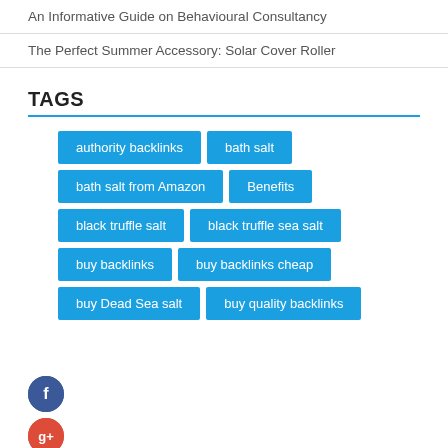An Informative Guide on Behavioural Consultancy
The Perfect Summer Accessory: Solar Cover Roller
TAGS
authority backlinks
bath salt
bath salt from Amazon
Benefits
black truffle salt
black truffle sea salt
buy backlinks
buy backlinks cheap
buy Dead Sea salt
buy quality backlinks